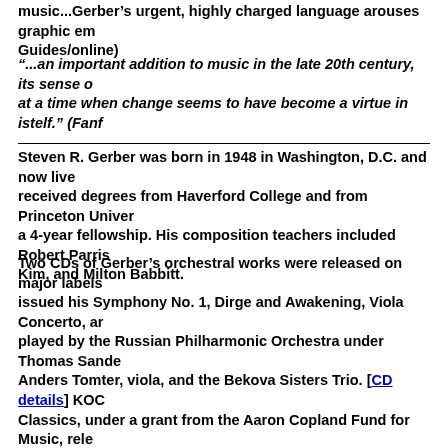music...Gerber’s urgent, highly charged language arouses graphic em... Guides/online)
"...an important addition to music in the late 20th century, its sense o... at a time when change seems to have become a virtue in istelf." (Fanf...
Steven R. Gerber was born in 1948 in Washington, D.C. and now live... received degrees from Haverford College and from Princeton Univer... a 4-year fellowship. His composition teachers included Robert Parris... Kim, and Milton Babbitt.
Two CDs of Gerber’s orchestral works were released on major labels... issued his Symphony No. 1, Dirge and Awakening, Viola Concerto, ar... played by the Russian Philharmonic Orchestra under Thomas Sande... Anders Tomter, viola, and the Bekova Sisters Trio. [CD details] KOC... Classics, under a grant from the Aaron Copland Fund for Music, rele... Concerto, Cello Concerto, and Serenade for String Orchestra, played... Chamber Orchestra under Piotr Gajewski, with soloists Kurt Nikkan... [CD details] After the American premiere of his Violin Concerto at th... John F. Kennedy Center for the Performing Arts in 1995 by Nikkane... Chamber Orchestra under Gajewski, the Washington Post called it "... contemporary violin repertoire: lyrical, passionate, beautifully tailore... capabilities...Gerber has revived the spirit of romanticism in this wor... dramatic effects and surprises still possible in traditional forms...one...